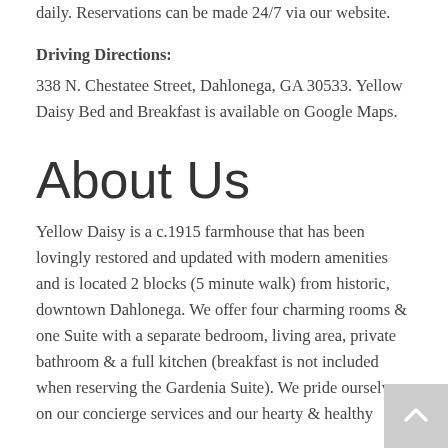We take phone call inquiries from 9am to 8pm daily. Reservations can be made 24/7 via our website.
Driving Directions:
338 N. Chestatee Street, Dahlonega, GA 30533. Yellow Daisy Bed and Breakfast is available on Google Maps.
About Us
Yellow Daisy is a c.1915 farmhouse that has been lovingly restored and updated with modern amenities and is located 2 blocks (5 minute walk) from historic, downtown Dahlonega. We offer four charming rooms & one Suite with a separate bedroom, living area, private bathroom & a full kitchen (breakfast is not included when reserving the Gardenia Suite). We pride ourselves on our concierge services and our hearty & healthy